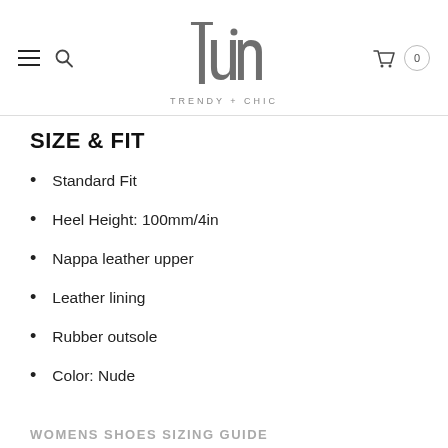[Figure (logo): Tuni Trendy+Chic logo with stylized text and subtitle]
SIZE & FIT
Standard Fit
Heel Height: 100mm/4in
Nappa leather upper
Leather lining
Rubber outsole
Color: Nude
WOMENS SHOES SIZING GUIDE